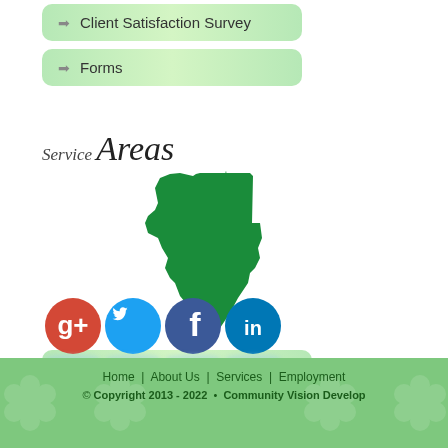Client Satisfaction Survey
Forms
Service Areas
[Figure (map): Green silhouette of the state of Minnesota]
View Larger Map »
[Figure (illustration): Social media icons: Google+, Twitter, Facebook, LinkedIn]
Home | About Us | Services | Employment
© Copyright 2013 - 2022 • Community Vision Develop...